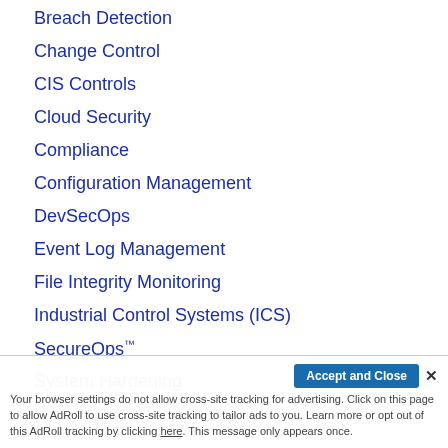Breach Detection
Change Control
CIS Controls
Cloud Security
Compliance
Configuration Management
DevSecOps
Event Log Management
File Integrity Monitoring
Industrial Control Systems (ICS)
SecureOps™
System Hardening
Accept and Close ✕
Your browser settings do not allow cross-site tracking for advertising. Click on this page to allow AdRoll to use cross-site tracking to tailor ads to you. Learn more or opt out of this AdRoll tracking by clicking here. This message only appears once.